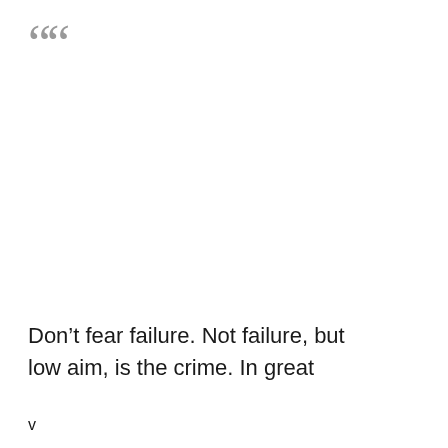““
Don’t fear failure. Not failure, but low aim, is the crime. In great
v